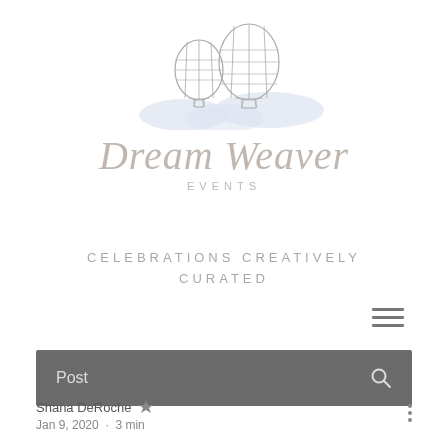[Figure (logo): Two hot air balloons with striped patterns floating above stylized clouds, serving as the logo illustration for Dream Weaver Events]
Dream Weaver Events
CELEBRATIONS CREATIVELY CURATED
Post
Shana DeRoche • Jan 9, 2020 • 3 min